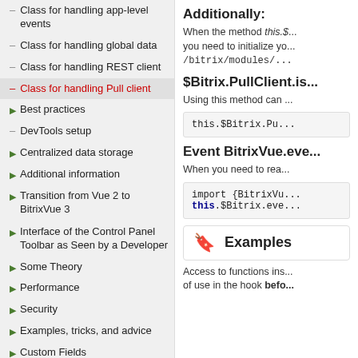Class for handling app-level events
Class for handling global data
Class for handling REST client
Class for handling Pull client
Best practices
DevTools setup
Centralized data storage
Additional information
Transition from Vue 2 to BitrixVue 3
Interface of the Control Panel Toolbar as Seen by a Developer
Some Theory
Performance
Security
Examples, tricks, and advice
Custom Fields
Gadgets
Project Testing
Push and Pull module
Additionally:
When the method this.s... you need to initialize yo... /bitrix/modules/...
$Bitrix.PullClient.is...
Using this method can ...
this.$Bitrix.Pu...
Event BitrixVue.eve...
When you need to rea...
import {BitrixVu...
this.$Bitrix.eve...
Examples
Access to functions ins... of use in the hook befo...